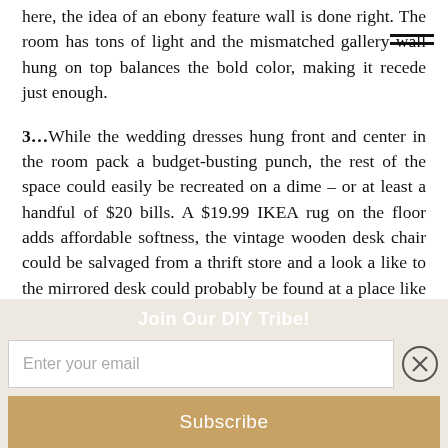here, the idea of an ebony feature wall is done right. The room has tons of light and the mismatched gallery wall hung on top balances the bold color, making it recede just enough.
3…While the wedding dresses hung front and center in the room pack a budget-busting punch, the rest of the space could easily be recreated on a dime – or at least a handful of $20 bills. A $19.99 IKEA rug on the floor adds affordable softness, the vintage wooden desk chair could be salvaged from a thrift store and a look a like to the mirrored desk could probably be found at a place like HomeGoods. I love when I get to say this but… Definitely try this look at home!
What are your favorite details?
Join Our DIY Tribe!
Enter your email
Subscribe